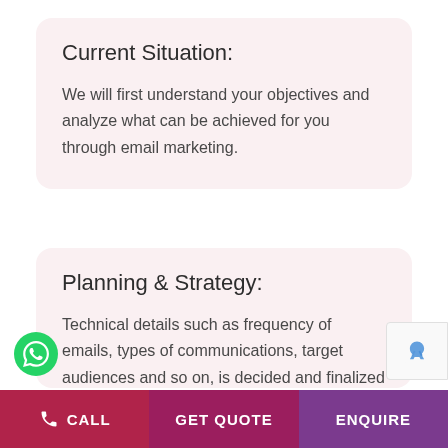Current Situation:
We will first understand your objectives and analyze what can be achieved for you through email marketing.
Planning & Strategy:
Technical details such as frequency of emails, types of communications, target audiences and so on, is decided and finalized at this stage. We want to make sure that your message reaches the audience who you would want to engage with.
CALL   GET QUOTE   ENQUIRE